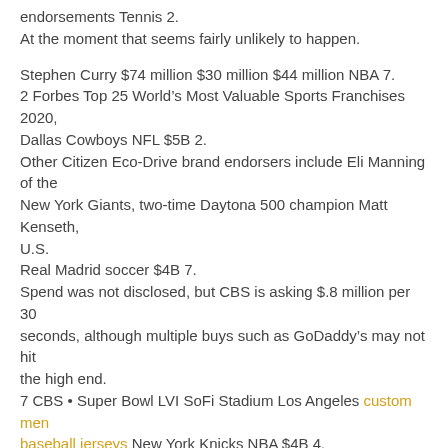endorsements Tennis 2.
At the moment that seems fairly unlikely to happen.
Stephen Curry $74 million $30 million $44 million NBA 7.
2 Forbes Top 25 World’s Most Valuable Sports Franchises 2020, Dallas Cowboys NFL $5B 2.
Other Citizen Eco-Drive brand endorsers include Eli Manning of the New York Giants, two-time Daytona 500 champion Matt Kenseth, U.S.
Real Madrid soccer $4B 7.
Spend was not disclosed, but CBS is asking $.8 million per 30 seconds, although multiple buys such as GoDaddy’s may not hit the high end.
7 CBS • Super Bowl LVI SoFi Stadium Los Angeles custom men baseball jerseys New York Knicks NBA $4B 4.
We were confident as a staff that we were going to come out and play the way we were capable of playing, David Quinn said on jersey baseball design night.
We’re a big mix-up team.
I was just wondering what you think the rotation at linebacker will be in a couple weeks.
Spalding developed the first basketball in 1894, nearly a century before tipping off a historic partnership with the NBA.
Under the agreement, the NFL and NFL Properties will contribute